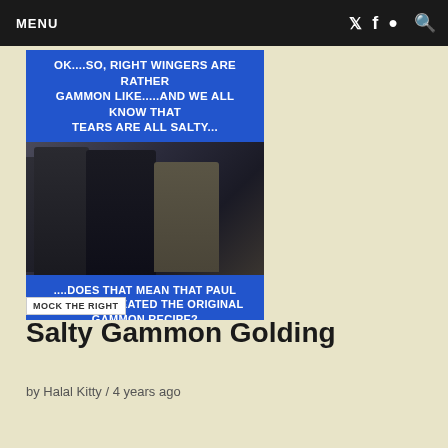MENU
[Figure (photo): Meme image with blue background showing people in formal attire with text: 'OK....SO, RIGHT WINGERS ARE RATHER GAMMON LIKE.....AND WE ALL KNOW THAT TEARS ARE ALL SALTY... ....DOES THAT MEAN THAT PAUL GOLDING CREATED THE ORIGINAL GAMMON RECIPE?' with 'MOCK THE RIGHT' label]
Salty Gammon Golding
by Halal Kitty / 4 years ago